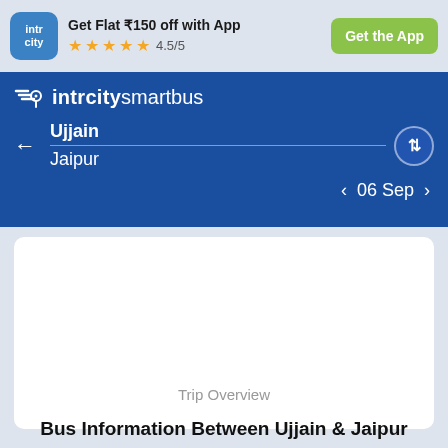[Figure (screenshot): IntrCity app logo — blue rounded square with 'intr city' text in white]
Get Flat ₹150 off with App
★★★★½ 4.5/5
Get the App
[Figure (logo): IntrCity SmartBus logo with location pin and speed lines icon]
Ujjain
Jaipur
06 Sep
Trip Overview
Bus Information Between Ujjain & Jaipur